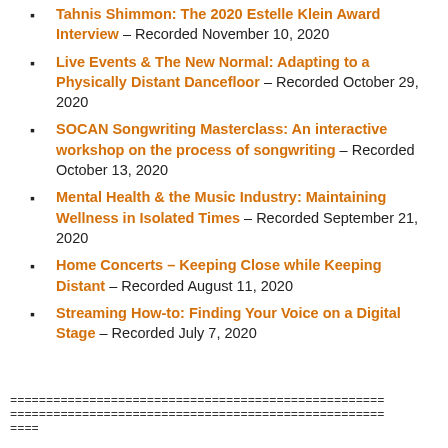Tahnis Shimmon: The 2020 Estelle Klein Award Interview – Recorded November 10, 2020
Live Events & The New Normal: Adapting to a Physically Distant Dancefloor – Recorded October 29, 2020
SOCAN Songwriting Masterclass: An interactive workshop on the process of songwriting – Recorded October 13, 2020
Mental Health & the Music Industry: Maintaining Wellness in Isolated Times – Recorded September 21, 2020
Home Concerts – Keeping Close while Keeping Distant – Recorded August 11, 2020
Streaming How-to: Finding Your Voice on a Digital Stage – Recorded July 7, 2020
====================================================
====================================================
====